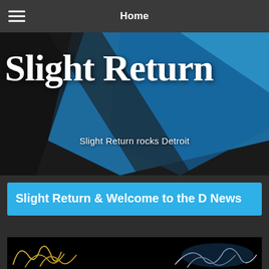Home
Slight Return
Slight Return rocks Detroit
Slight Return & Welcome to the D News
[Figure (photo): Dark image at bottom with cursive/signature-style light lines against a black background, partially visible]